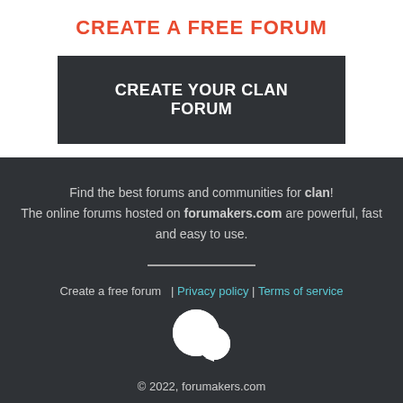CREATE A FREE FORUM
CREATE YOUR CLAN FORUM
Find the best forums and communities for clan! The online forums hosted on forumakers.com are powerful, fast and easy to use.
Create a free forum  | Privacy policy | Terms of service
[Figure (illustration): Two overlapping speech bubble icons in white]
© 2022, forumakers.com